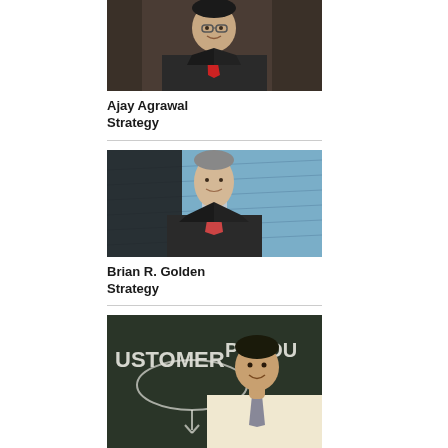[Figure (photo): Professional headshot of Ajay Agrawal, man in dark suit with red tie, smiling]
Ajay Agrawal
Strategy
[Figure (photo): Professional headshot of Brian R. Golden, man in dark suit with patterned tie, standing outdoors against blue metal wall]
Brian R. Golden
Strategy
[Figure (photo): Man in light shirt with tie, standing in front of a blackboard with 'CUSTOMER' and 'PRODU' written on it with diagrams]